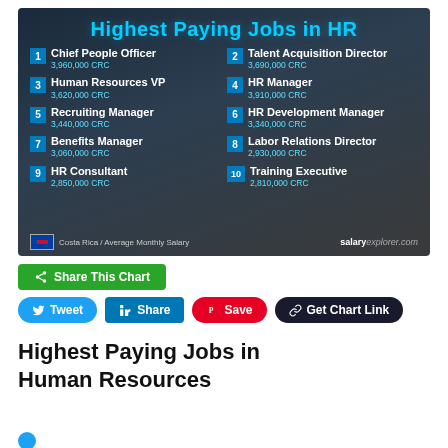[Figure (infographic): Highest Paying Jobs in HR infographic showing top 10 HR jobs in Costa Rica with average monthly salaries in CRC. Background shows a group of people doing a team high-five. Jobs listed: 1. Chief People Officer, 2. Talent Acquisition Director, 3. Human Resources VP, 4. HR Manager, 5. Recruiting Manager, 6. HR Development Manager, 7. Benefits Manager, 8. Labor Relations Director, 9. HR Consultant, 10. Training Executive. Source: salaryexplorer.com]
Share This Chart
Tweet | Share | Save | Get Chart Link
Highest Paying Jobs in Human Resources